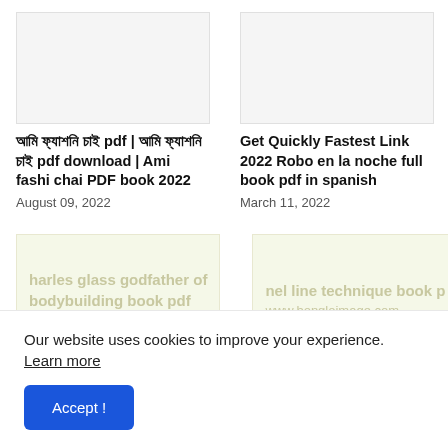[Figure (other): Blank placeholder image, light gray background]
[Figure (other): Blank placeholder image, light gray background]
আমি ফ্যাশনি চাই pdf | আমি ফ্যাশনি চাই pdf download | Ami fashi chai PDF book 2022
August 09, 2022
Get Quickly Fastest Link 2022 Robo en la noche full book pdf in spanish
March 11, 2022
[Figure (other): Placeholder image with watermark text: harles glass godfather of bodybuilding book pdf www.bongloimage.com]
[Figure (other): Placeholder image with watermark text: nel line technique book p www.bongloimage.com]
Our website uses cookies to improve your experience. Learn more
Accept !